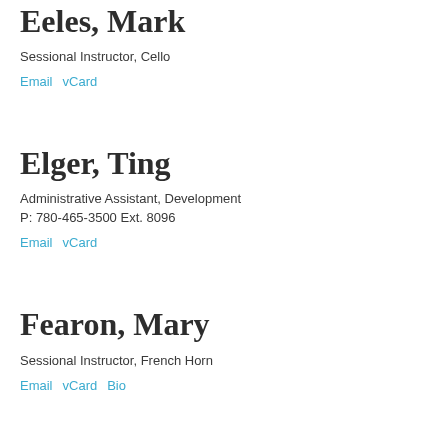Eeles, Mark
Sessional Instructor, Cello
Email   vCard
Elger, Ting
Administrative Assistant, Development
P: 780-465-3500 Ext. 8096
Email   vCard
Fearon, Mary
Sessional Instructor, French Horn
Email   vCard   Bio
Fea...